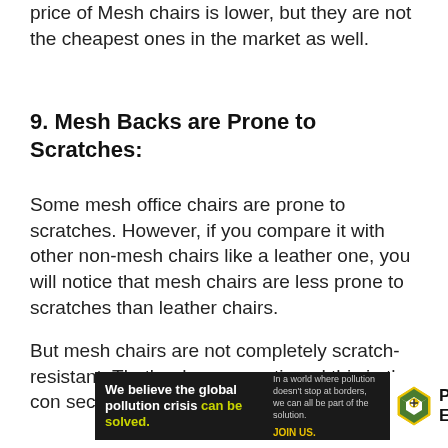price of Mesh chairs is lower, but they are not the cheapest ones in the market as well.
9. Mesh Backs are Prone to Scratches:
Some mesh office chairs are prone to scratches. However, if you compare it with other non-mesh chairs like a leather one, you will notice that mesh chairs are less prone to scratches than leather chairs.
But mesh chairs are not completely scratch-resistant. That’s why we mentioned this in the con section.
[Figure (infographic): Advertisement banner for Pure Earth: dark left panel reads 'We believe the global pollution crisis can be solved.' with subtext 'In a world where pollution doesn't stop at borders, we can all be part of the solution. JOIN US.' Right panel shows Pure Earth logo with diamond/arrow icon.]